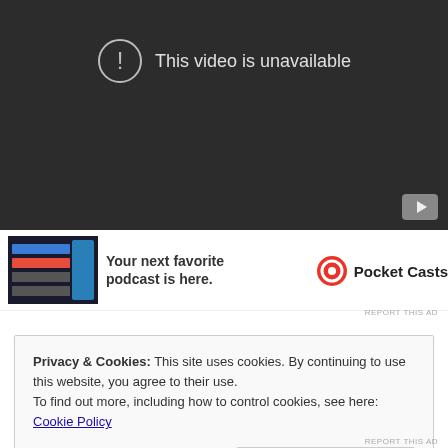[Figure (screenshot): Dark video player showing 'This video is unavailable' message with exclamation circle icon and YouTube play button in bottom right corner]
[Figure (screenshot): Advertisement banner for Pocket Casts podcast app showing app screenshot image, text 'Your next favorite podcast is here.' and Pocket Casts logo with red circular icon]
REPORT THIS AD
Privacy & Cookies: This site uses cookies. By continuing to use this website, you agree to their use.
To find out more, including how to control cookies, see here: Cookie Policy
Close and accept